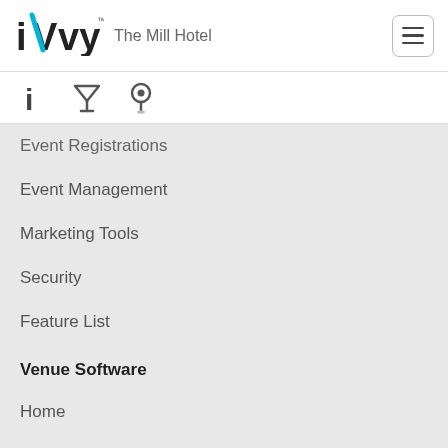[Figure (logo): iVvy logo with teal/cyan stylized letters]
The Mill Hotel
[Figure (other): Hamburger menu icon (three horizontal lines) in rounded square button]
[Figure (other): Toolbar with three icons: info (i), filter/cocktail glass, map pin]
Event Registrations
Event Management
Marketing Tools
Security
Feature List
Venue Software
Home
Highlights
Sales & Catering
Marketing Tools
Reporting